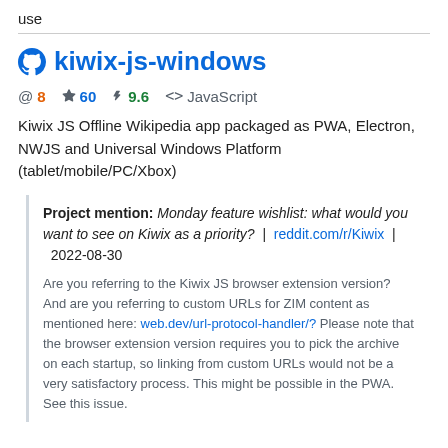use
kiwix-js-windows
@ 8  ☆ 60  ⚡ 9.6  <> JavaScript
Kiwix JS Offline Wikipedia app packaged as PWA, Electron, NWJS and Universal Windows Platform (tablet/mobile/PC/Xbox)
Project mention: Monday feature wishlist: what would you want to see on Kiwix as a priority? | reddit.com/r/Kiwix | 2022-08-30
Are you referring to the Kiwix JS browser extension version? And are you referring to custom URLs for ZIM content as mentioned here: web.dev/url-protocol-handler/? Please note that the browser extension version requires you to pick the archive on each startup, so linking from custom URLs would not be a very satisfactory process. This might be possible in the PWA. See this issue.